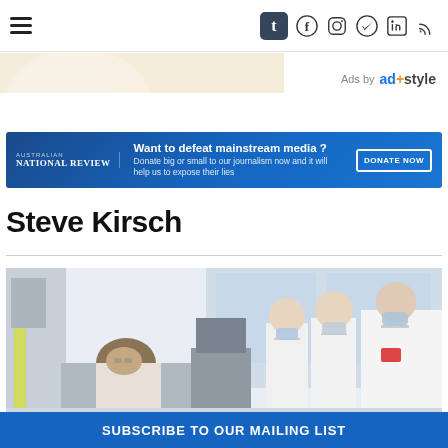Navigation header with hamburger menu and social icons (Tumblr, Facebook, Instagram, Telegram, LinkedIn, RSS)
[Figure (screenshot): Partial cropped image visible at top of page, appears to be a person or object]
Ads by ad+style
[Figure (infographic): Blue banner advertisement for Australian National Review: 'Want to defeat mainstream media? Donate big or small to our journalism now and it will help us to expose their lies' with DONATE NOW button]
Steve Kirsch
[Figure (photo): Hospital scene showing a patient lying in bed and three medical workers wearing white uniforms and face masks standing bedside in a clinical room]
SUBSCRIBE TO OUR MAILING LIST